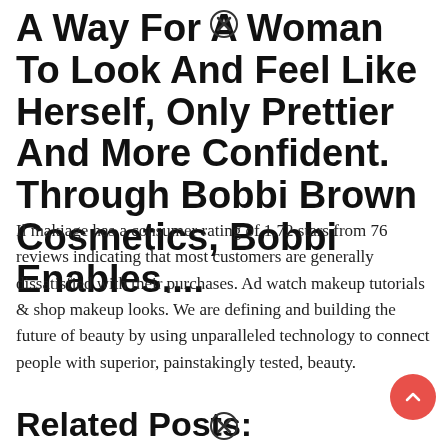A Way For A Woman To Look And Feel Like Herself, Only Prettier And More Confident. Through Bobbi Brown Cosmetics, Bobbi Enables....
Il makiage has a consumer rating of 1.72 stars from 76 reviews indicating that most customers are generally dissatisfied with their purchases. Ad watch makeup tutorials & shop makeup looks. We are defining and building the future of beauty by using unparalleled technology to connect people with superior, painstakingly tested, beauty.
Related Posts: